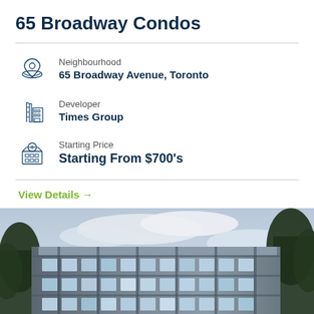65 Broadway Condos
Neighbourhood
65 Broadway Avenue, Toronto
Developer
Times Group
Starting Price
Starting From $700's
View Details →
[Figure (photo): Exterior rendering of 65 Broadway Condos, a modern multi-storey residential building with large windows, balconies, and trees visible on either side against a cloudy sky.]